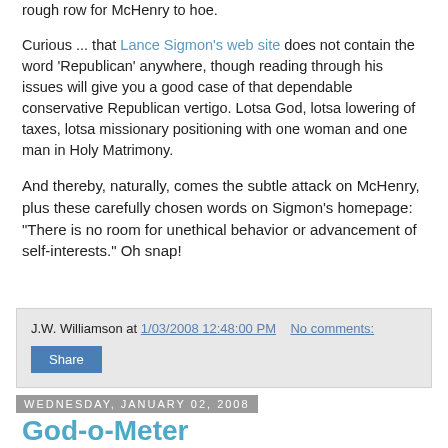rough row for McHenry to hoe.
Curious ... that Lance Sigmon's web site does not contain the word 'Republican' anywhere, though reading through his issues will give you a good case of that dependable conservative Republican vertigo. Lotsa God, lotsa lowering of taxes, lotsa missionary positioning with one woman and one man in Holy Matrimony.
And thereby, naturally, comes the subtle attack on McHenry, plus these carefully chosen words on Sigmon's homepage: "There is no room for unethical behavior or advancement of self-interests." Oh snap!
J.W. Williamson at 1/03/2008 12:48:00 PM   No comments:
Share
Wednesday, January 02, 2008
God-o-Meter